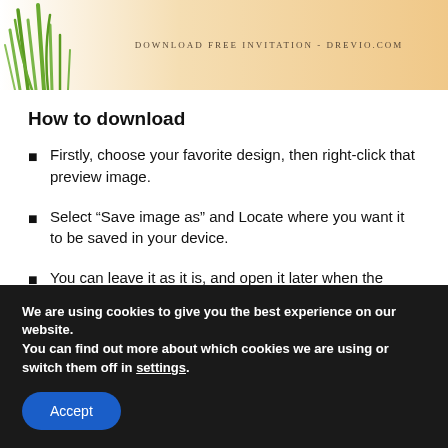[Figure (illustration): Top banner with grass/plant illustration on left and peach/tan gradient background. Text reads 'DOWNLOAD FREE INVITATION - DREVIO.COM' in the center.]
How to download
Firstly, choose your favorite design, then right-click that preview image.
Select “Save image as” and Locate where you want it to be saved in your device.
You can leave it as it is, and open it later when the
We are using cookies to give you the best experience on our website.
You can find out more about which cookies we are using or switch them off in settings.
Accept